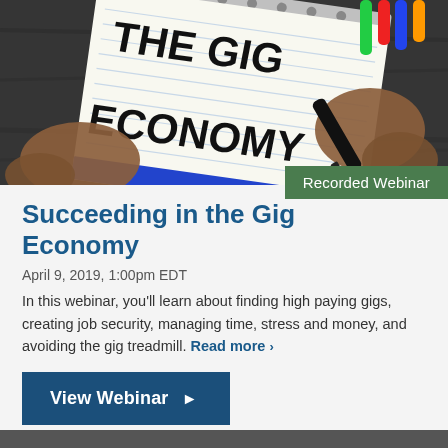[Figure (photo): Overhead photo of hands writing 'THE GIG ECONOMY' on a lined notepad with a black marker, alongside colorful markers on a dark wooden desk.]
Recorded Webinar
Succeeding in the Gig Economy
April 9, 2019, 1:00pm EDT
In this webinar, you'll learn about finding high paying gigs, creating job security, managing time, stress and money, and avoiding the gig treadmill. Read more ›
View Webinar ▶